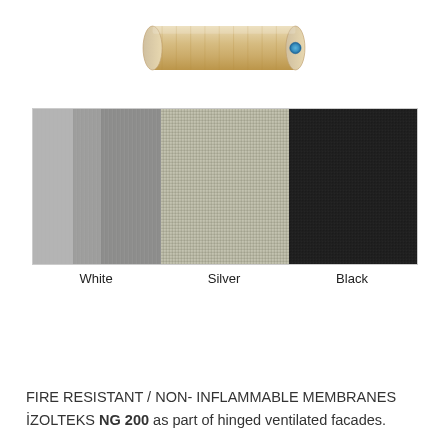[Figure (photo): A roll of membrane material (beige/gold coloured roll with a blue core/end cap visible), shown from a slightly overhead angle.]
[Figure (photo): Three colour swatches of membrane material side by side: White (left, light grey-white with vertical texture), Silver (centre, metallic woven texture), Black (right, dark woven texture).]
White    Silver    Black
FIRE RESISTANT / NON- INFLAMMABLE MEMBRANES İZOLTEKS NG 200 as part of hinged ventilated facades.